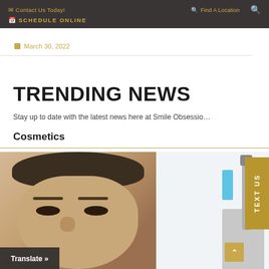Contact Us Today!  Find A Location  SCHEDULE ONLINE
March 30, 2022
TRENDING NEWS
Stay up to date with the latest news here at Smile Obsessio…
Cosmetics
[Figure (photo): Photo of a man's face and a dental/medical microscope in a lab setting]
Translate »